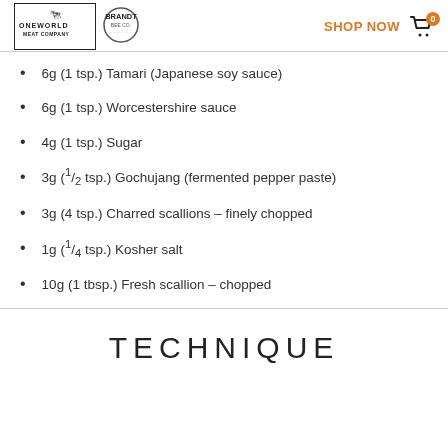ONE WORLD MEAT COMPANY | BRANDT | SHOP NOW | Cart 0
6g (1 tsp.) Tamari (Japanese soy sauce)
6g (1 tsp.) Worcestershire sauce
4g (1 tsp.) Sugar
3g (½ tsp.) Gochujang (fermented pepper paste)
3g (4 tsp.) Charred scallions – finely chopped
1g (¼ tsp.) Kosher salt
10g (1 tbsp.) Fresh scallion – chopped
TECHNIQUE